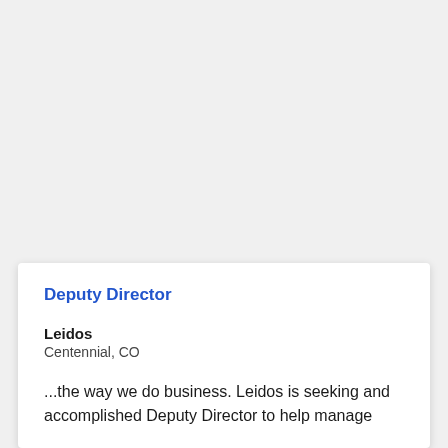Deputy Director
Leidos
Centennial, CO
...the way we do business. Leidos is seeking and accomplished Deputy Director to help manage